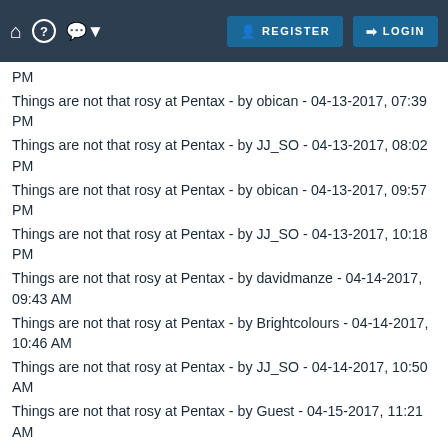REGISTER LOGIN
Things are not that rosy at Pentax - by obican - 04-13-2017, 07:39 PM
Things are not that rosy at Pentax - by JJ_SO - 04-13-2017, 08:02 PM
Things are not that rosy at Pentax - by obican - 04-13-2017, 09:57 PM
Things are not that rosy at Pentax - by JJ_SO - 04-13-2017, 10:18 PM
Things are not that rosy at Pentax - by davidmanze - 04-14-2017, 09:43 AM
Things are not that rosy at Pentax - by Brightcolours - 04-14-2017, 10:46 AM
Things are not that rosy at Pentax - by JJ_SO - 04-14-2017, 10:50 AM
Things are not that rosy at Pentax - by Guest - 04-15-2017, 11:21 AM
Things are not that rosy at Pentax - by JJ_SO - 04-15-2017, 11:43 AM
Things are not that rosy at Pentax - by Klaus - 04-15-2017, 01:31 PM
Things are not that rosy at Pentax - by toni-a - 04-15-2017, 02:31 PM
Things are not that rosy at Pentax - by Guest - 04-15-2017, 03:01 PM
Things are not that rosy at Pentax - by Guest - 04-15-2017, 03:09 PM